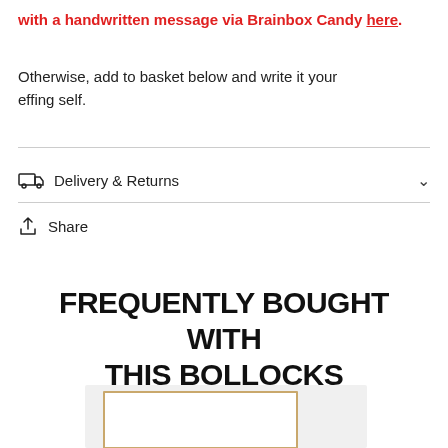with a handwritten message via Brainbox Candy here.
Otherwise, add to basket below and write it your effing self.
Delivery & Returns
Share
FREQUENTLY BOUGHT WITH THIS BOLLOCKS
[Figure (photo): Product card image showing a white greeting card with kraft brown envelope on a light grey background]